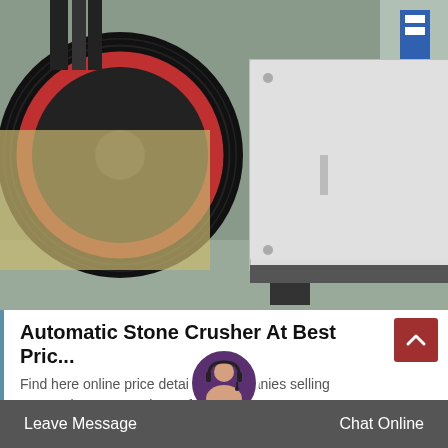[Figure (photo): Industrial jaw stone crusher machine in a factory setting, showing large black and red flywheels on either side, a white/grey crushing body with a grid-like ridged face plate, mounted on a dark base. Multiple units visible in background.]
Automatic Stone Crusher At Best Pric...
Find here online price details of companies selling automatic stone crushe... of suppliers...
Leave Message  Chat Online